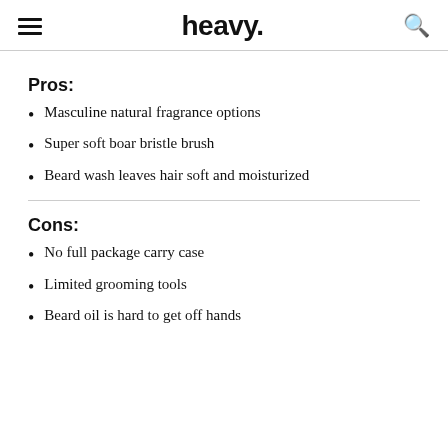heavy.
Pros:
Masculine natural fragrance options
Super soft boar bristle brush
Beard wash leaves hair soft and moisturized
Cons:
No full package carry case
Limited grooming tools
Beard oil is hard to get off hands